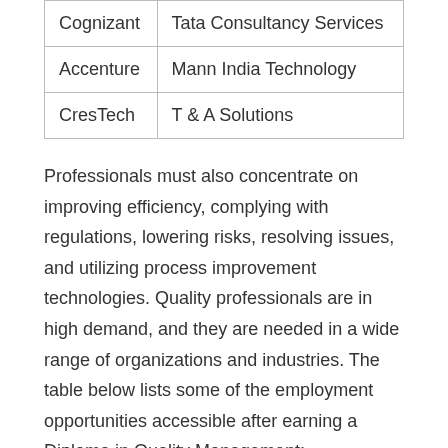| Cognizant | Tata Consultancy Services |
| Accenture | Mann India Technology |
| CresTech | T & A Solutions |
Professionals must also concentrate on improving efficiency, complying with regulations, lowering risks, resolving issues, and utilizing process improvement technologies. Quality professionals are in high demand, and they are needed in a wide range of organizations and industries. The table below lists some of the employment opportunities accessible after earning a Diploma in Quality Management: